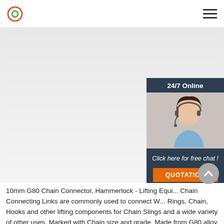Logo and navigation menu
[Figure (photo): Red G80 alloy steel load binder/chain tensioner with hooks, shown on white background with watermark text WWW.[?]ARIGGING]
10mm G80 Chain Connector, Hammerlock - Lifting Equi... Chain Connecting Links are commonly used to connect W... Rings, Chain, Hooks and other lifting components for Chain Slings and a wide variety of other uses. Marked with Chain size and grade. Made from G80 alloy steel with a safety factor of 4 to